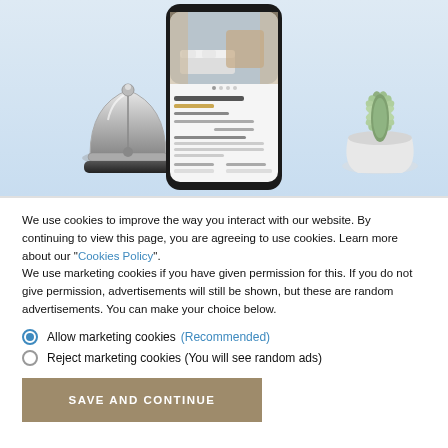[Figure (photo): Hotel-themed illustration showing a smartphone displaying a hotel booking page, a silver service bell, and a green succulent plant in a white pot, on a light blue-grey background.]
We use cookies to improve the way you interact with our website. By continuing to view this page, you are agreeing to use cookies. Learn more about our "Cookies Policy". We use marketing cookies if you have given permission for this. If you do not give permission, advertisements will still be shown, but these are random advertisements. You can make your choice below.
Allow marketing cookies (Recommended)
Reject marketing cookies (You will see random ads)
SAVE AND CONTINUE